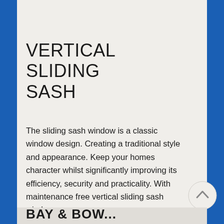[Figure (photo): Photograph of a traditional house exterior showing a white/cream door flanked by large green bushes/hedges, with architectural stonework visible in the background.]
VERTICAL SLIDING SASH
The sliding sash window is a classic window design. Creating a traditional style and appearance. Keep your homes character whilst significantly improving its efficiency, security and practicality. With maintenance free vertical sliding sash windows.
BAY & BOW...